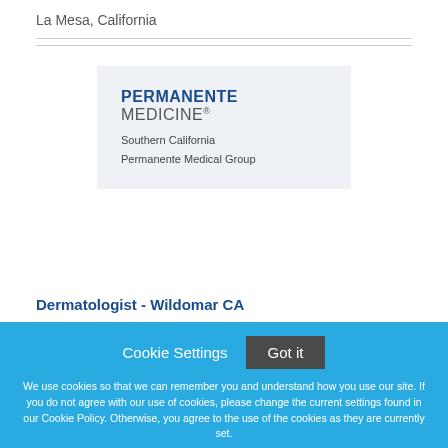La Mesa, California
[Figure (logo): Permanente Medicine logo - Southern California Permanente Medical Group]
Dermatologist - Wildomar CA
Cookie Settings  Got it
We use cookies so that we can remember you and understand how you use our site. If you do not agree with our use of cookies, please change the current settings found in our Cookie Policy. Otherwise, you agree to the use of the cookies as they are currently set.